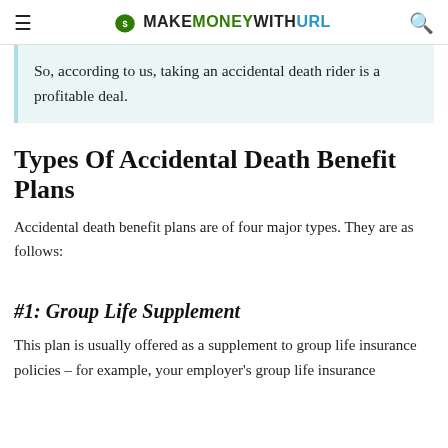MAKEMONEYWITHURL
So, according to us, taking an accidental death rider is a profitable deal.
Types Of Accidental Death Benefit Plans
Accidental death benefit plans are of four major types. They are as follows:
#1: Group Life Supplement
This plan is usually offered as a supplement to group life insurance policies – for example, your employer's group life insurance